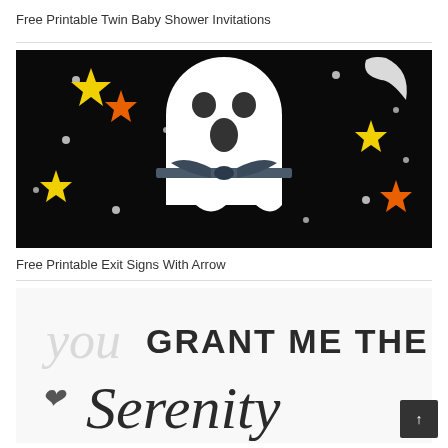Free Printable Twin Baby Shower Invitations
[Figure (photo): A white ghost decoration made from fabric/tissue with a dark ribbon tied around its neck, set against a black background with colorful stars (yellow, orange) and white dots, with a crescent moon visible in the upper right.]
Free Printable Exit Signs With Arrow
[Figure (photo): Partial view of a decorative printable with cursive and bold text reading 'You Grant Me The Serenity' on a white background.]